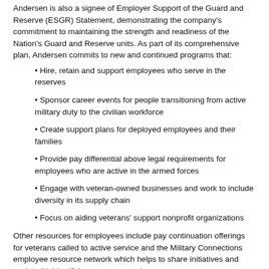Andersen is also a signee of Employer Support of the Guard and Reserve (ESGR) Statement, demonstrating the company’s commitment to maintaining the strength and readiness of the Nation’s Guard and Reserve units. As part of its comprehensive plan, Andersen commits to new and continued programs that:
Hire, retain and support employees who serve in the reserves
Sponsor career events for people transitioning from active military duty to the civilian workforce
Create support plans for deployed employees and their families
Provide pay differential above legal requirements for employees who are active in the armed forces
Engage with veteran-owned businesses and work to include diversity in its supply chain
Focus on aiding veterans’ support nonprofit organizations
Other resources for employees include pay continuation offerings for veterans called to active service and the Military Connections employee resource network which helps to share initiatives and assist with identifying resources and...